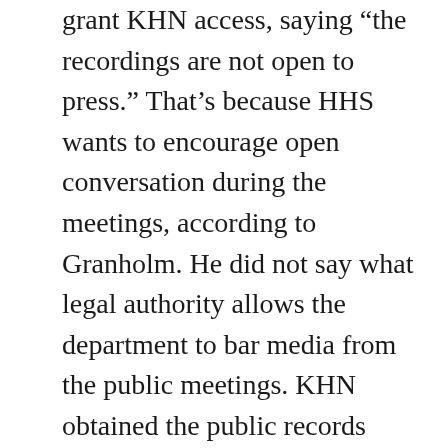grant KHN access, saying “the recordings are not open to press.” That’s because HHS wants to encourage open conversation during the meetings, according to Granholm. He did not say what legal authority allows the department to bar media from the public meetings. KHN obtained the public records through Freedom of Information Act requests.

A senior White House official said that the Biden administration is attempting to collect accurate data on how many people receive Paxlovid and